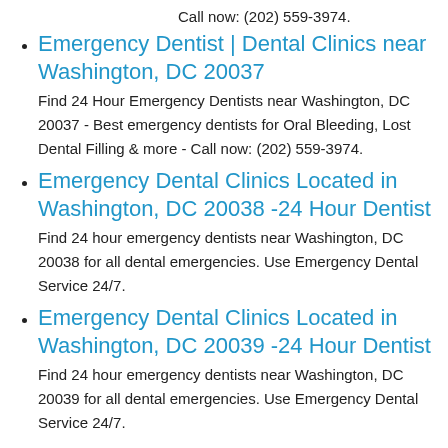Call now: (202) 559-3974.
Emergency Dentist | Dental Clinics near Washington, DC 20037
Find 24 Hour Emergency Dentists near Washington, DC 20037 - Best emergency dentists for Oral Bleeding, Lost Dental Filling & more - Call now: (202) 559-3974.
Emergency Dental Clinics Located in Washington, DC 20038 -24 Hour Dentist
Find 24 hour emergency dentists near Washington, DC 20038 for all dental emergencies. Use Emergency Dental Service 24/7.
Emergency Dental Clinics Located in Washington, DC 20039 -24 Hour Dentist
Find 24 hour emergency dentists near Washington, DC 20039 for all dental emergencies. Use Emergency Dental Service 24/7.